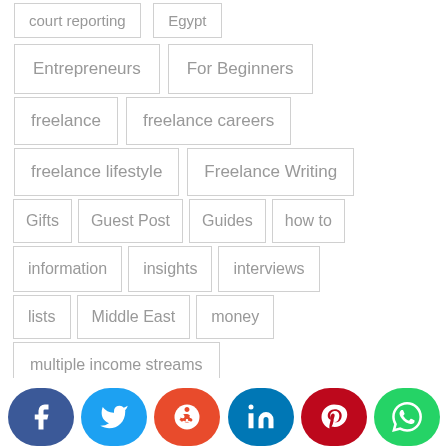court reporting
Egypt
Entrepreneurs
For Beginners
freelance
freelance careers
freelance lifestyle
Freelance Writing
Gifts
Guest Post
Guides
how to
information
insights
interviews
lists
Middle East
money
multiple income streams
passive income
proofreader